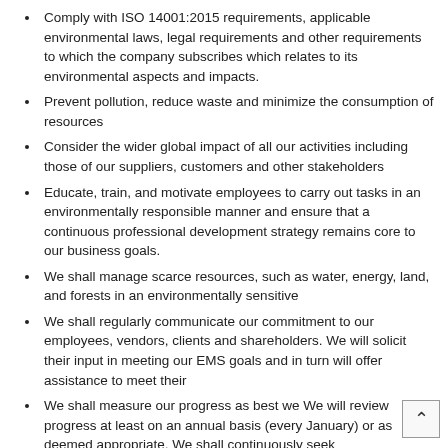Comply with ISO 14001:2015 requirements, applicable environmental laws, legal requirements and other requirements to which the company subscribes which relates to its environmental aspects and impacts.
Prevent pollution, reduce waste and minimize the consumption of resources
Consider the wider global impact of all our activities including those of our suppliers, customers and other stakeholders
Educate, train, and motivate employees to carry out tasks in an environmentally responsible manner and ensure that a continuous professional development strategy remains core to our business goals.
We shall manage scarce resources, such as water, energy, land, and forests in an environmentally sensitive
We shall regularly communicate our commitment to our employees, vendors, clients and shareholders. We will solicit their input in meeting our EMS goals and in turn will offer assistance to meet their
We shall measure our progress as best we We will review progress at least on an annual basis (every January) or as deemed appropriate. We shall continuously seek